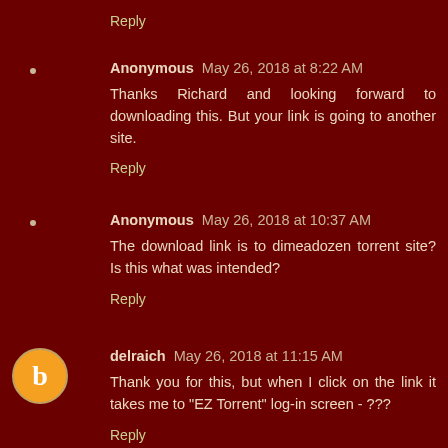Reply
Anonymous May 26, 2018 at 8:22 AM
Thanks Richard and looking forward to downloading this. But your link is going to another site.
Reply
Anonymous May 26, 2018 at 10:37 AM
The download link is to dimeadozen torrent site? Is this what was intended?
Reply
delraich May 26, 2018 at 11:15 AM
Thank you for this, but when I click on the link it takes me to "EZ Torrent" log-in screen - ???
Reply